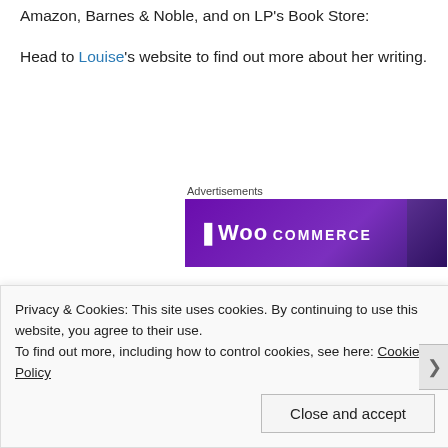Amazon, Barnes & Noble, and on LP's Book Store:
Head to Louise's website to find out more about her writing.
Advertisements
[Figure (screenshot): WooCommerce advertisement banner with purple gradient background showing the WooCommerce logo text in white]
Privacy & Cookies: This site uses cookies. By continuing to use this website, you agree to their use.
To find out more, including how to control cookies, see here: Cookie Policy
Close and accept